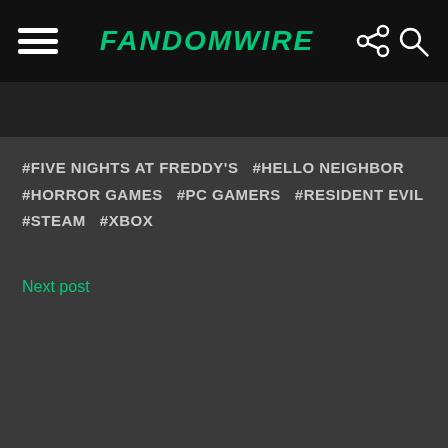FandomWire
[Figure (screenshot): Dark image strip below navigation bar]
#FIVE NIGHTS AT FREDDY'S  #HELLO NEIGHBOR  #HORROR GAMES  #PC GAMERS  #RESIDENT EVIL  #STEAM  #XBOX
Next post